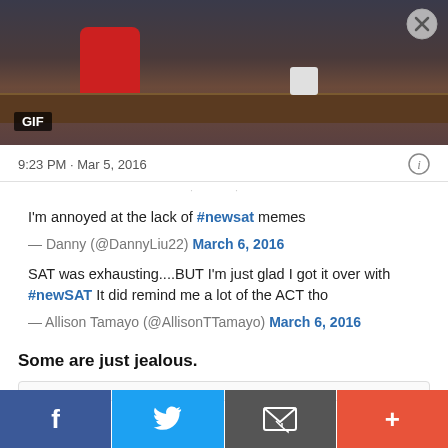[Figure (photo): A screenshot of a GIF showing two people at a desk in a TV studio setting. A red figure (appears to be Elmo) is visible on the left. A 'GIF' label appears in the bottom-left corner. An X close button is in the top-right corner.]
9:23 PM · Mar 5, 2016
I'm annoyed at the lack of #newsat memes
— Danny (@DannyLiu22) March 6, 2016
SAT was exhausting....BUT I'm just glad I got it over with #newSAT It did remind me a lot of the ACT tho
— Allison Tamayo (@AllisonTTamayo) March 6, 2016
Some are just jealous.